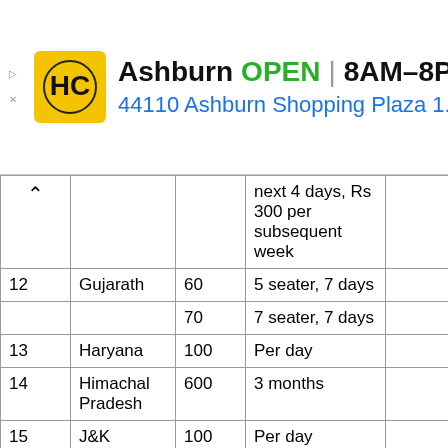[Figure (infographic): Advertisement banner for HC (Harkrishan Carriers or similar) showing store location in Ashburn, OPEN 8AM-8PM, address 44110 Ashburn Shopping Plaza 1., with navigation icon]
|  | State | Fee (Rs) | Period/Condition |  |
| --- | --- | --- | --- | --- |
|  |  |  | next 4 days, Rs 300 per subsequent week |  |
| 12 | Gujarath | 60 | 5 seater, 7 days |  |
|  |  | 70 | 7 seater, 7 days |  |
| 13 | Haryana | 100 | Per day |  |
| 14 | Himachal Pradesh | 600 | 3 months |  |
| 15 | J&K | 100 | Per day |  |
| 16 | Jharkhand | 450 | Per week |  |
|  |  | 900 | Per month |  |
|  |  | 1400 | For 4... |  |